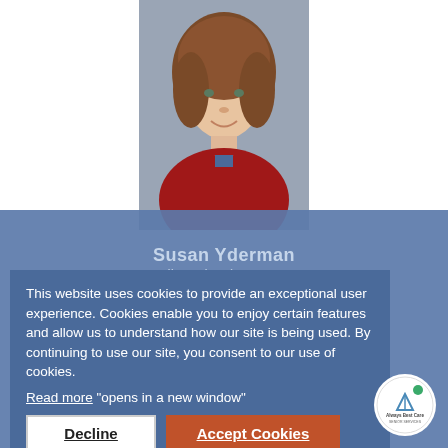[Figure (photo): Professional headshot of a woman with brown hair wearing a red jacket, against a grey background]
Susan Yderman
Call Us: (203) 877-1371
3 Schooner Lane,
Suite 1
Milford, CT 06460
DCP Registration#
HCA.0000831
This website uses cookies to provide an exceptional user experience. Cookies enable you to enjoy certain features and allow us to understand how our site is being used. By continuing to use our site, you consent to our use of cookies.
Read more "opens in a new window"
Decline
Accept Cookies
[Figure (logo): Always Best Care Senior Services circular logo]